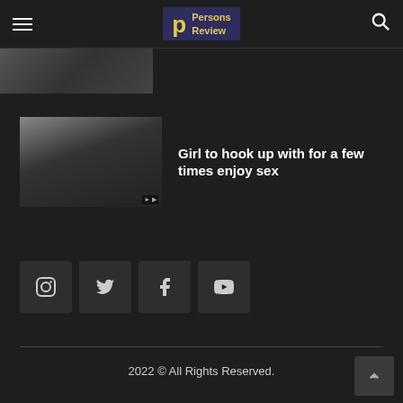Persons Review
[Figure (photo): Partial thumbnail image at top left]
[Figure (photo): Article thumbnail image showing hands]
Girl to hook up with for a few times enjoy sex
[Figure (infographic): Social media icons: Instagram, Twitter, Facebook, YouTube]
2022 © All Rights Reserved.